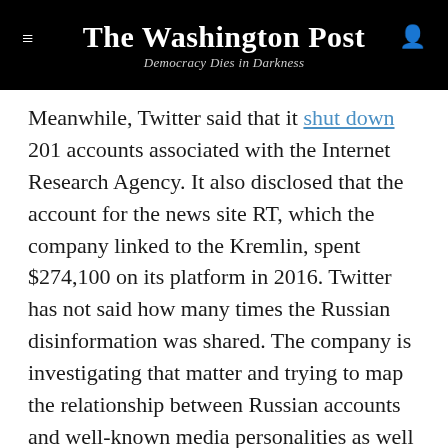The Washington Post — Democracy Dies in Darkness
Meanwhile, Twitter said that it shut down 201 accounts associated with the Internet Research Agency. It also disclosed that the account for the news site RT, which the company linked to the Kremlin, spent $274,100 on its platform in 2016. Twitter has not said how many times the Russian disinformation was shared. The company is investigating that matter and trying to map the relationship between Russian accounts and well-known media personalities as well as influencers associated with the campaigns of Donald Trump and other candidates, said a person familiar with Twitter's internal investigation. RT also has a